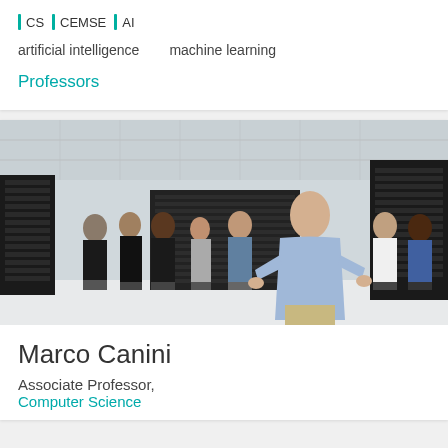CS
CEMSE
AI
artificial intelligence   machine learning
Professors
[Figure (photo): Group photo of Marco Canini and his research team standing in a large server/data center room with tall black server racks in the background. Marco Canini is in the foreground wearing a light blue shirt with his hands raised, while approximately 7 other team members stand behind him.]
Marco Canini
Associate Professor,
Computer Science